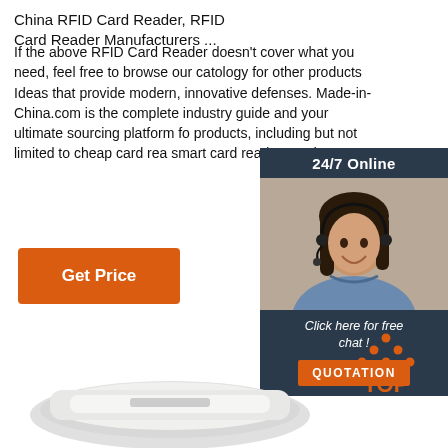China RFID Card Reader, RFID Card Reader Manufacturers ...
If the above RFID Card Reader doesn't cover what you need, feel free to browse our catology for other products Ideas that provide modern, innovative defenses. Made-in-China.com is the complete industry guide and your ultimate sourcing platform fo products, including but not limited to cheap card rea smart card reader, reader.
[Figure (other): Orange 'Get Price' button]
[Figure (other): 24/7 Online chat widget with customer service representative photo, 'Click here for free chat!' text, and orange QUOTATION button]
[Figure (logo): Orange and dark 'TOP' back-to-top button with dots forming an arrow]
[Figure (photo): Partial product image of RFID card reader device at bottom of page]